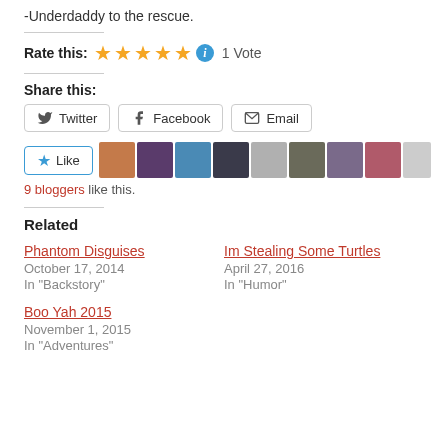-Underdaddy to the rescue.
Rate this: ★★★★★ i 1 Vote
Share this:
Twitter | Facebook | Email
Like [avatars] 9 bloggers like this.
Related
Phantom Disguises
October 17, 2014
In "Backstory"
Im Stealing Some Turtles
April 27, 2016
In "Humor"
Boo Yah 2015
November 1, 2015
In "Adventures"